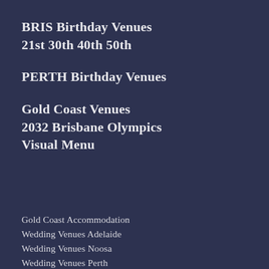BRIS Birthday Venues 21st 30th 40th 50th
PERTH Birthday Venues
Gold Coast Venues 2032 Brisbane Olympics Visual Menu
Gold Coast Accommodation
Wedding Venues Adelaide
Wedding Venues Noosa
Wedding Venues Perth
Wedding Venues Margaret River
Wedding Venues Byron Bay
Wedding Venues Sydney
Wedding Venues Brisbane
Bride Bible Australia